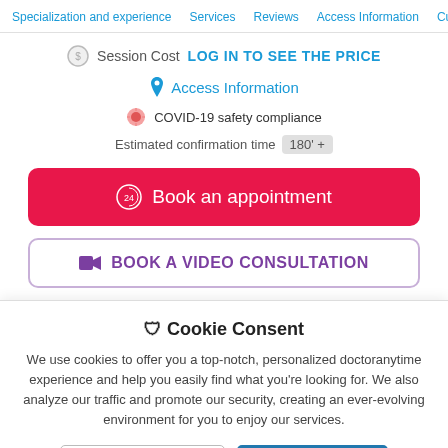Specialization and experience  Services  Reviews  Access Information  Curric
Session Cost  LOG IN TO SEE THE PRICE
Access Information
COVID-19 safety compliance
Estimated confirmation time  180' +
Book an appointment
BOOK A VIDEO CONSULTATION
🛡 Cookie Consent
We use cookies to offer you a top-notch, personalized doctoranytime experience and help you easily find what you're looking for. We also analyze our traffic and promote our security, creating an ever-evolving environment for you to enjoy our services.
No, customize settings
Yes, accept cookies